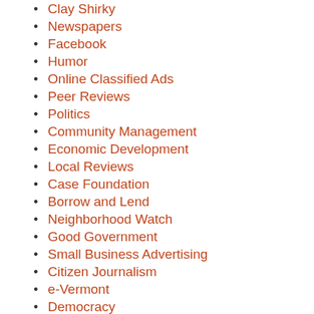Clay Shirky
Newspapers
Facebook
Humor
Online Classified Ads
Peer Reviews
Politics
Community Management
Economic Development
Local Reviews
Case Foundation
Borrow and Lend
Neighborhood Watch
Good Government
Small Business Advertising
Citizen Journalism
e-Vermont
Democracy
Local Search